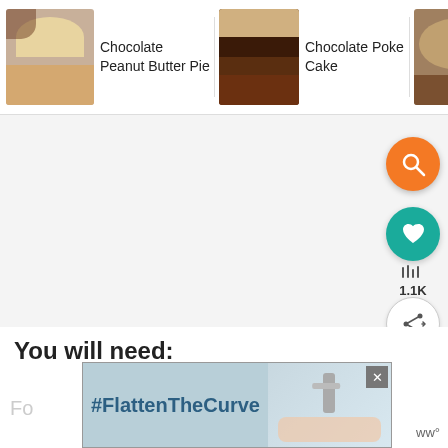[Figure (screenshot): Top navigation bar showing three recipe thumbnails: Chocolate Peanut Butter Pie, Chocolate Poke Cake, and Air Fryer Chocolate Cake]
Chocolate Peanut Butter Pie
Chocolate Poke Cake
Air Fryer Chocolate Cake
[Figure (screenshot): Main large content area (mostly gray/blank) with orange search FAB showing magnifying glass icon, teal heart FAB, 1.1K count, and white share button]
1.1K
You will need:
[Figure (screenshot): Advertisement banner with #FlattenTheCurve hashtag text and image of hands washing at a faucet, with X close button]
#FlattenTheCurve
Fo
ww°